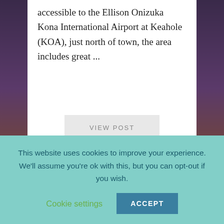accessible to the Ellison Onizuka Kona International Airport at Keahole (KOA), just north of town, the area includes great ...
VIEW POST
AUTISM FRIENDLY VACATION RENTALS:
This website uses cookies to improve your experience. We'll assume you're ok with this, but you can opt-out if you wish.